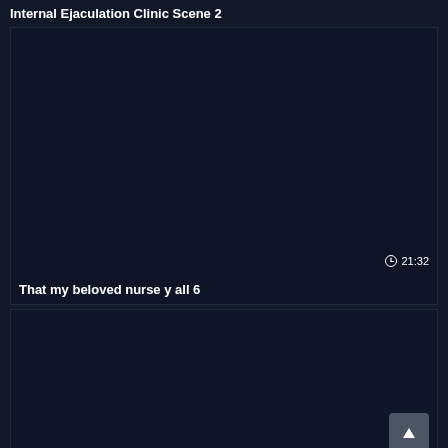Internal Ejaculation Clinic Scene 2
[Figure (screenshot): Dark navy thumbnail placeholder for video card]
That my beloved nurse y all 6
21:32
[Figure (screenshot): Dark navy thumbnail placeholder for second video card]